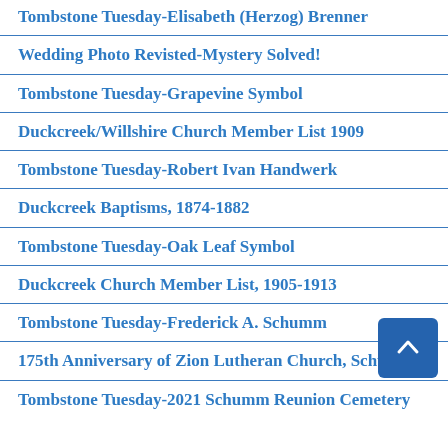Tombstone Tuesday-Elisabeth (Herzog) Brenner
Wedding Photo Revisted-Mystery Solved!
Tombstone Tuesday-Grapevine Symbol
Duckcreek/Willshire Church Member List 1909
Tombstone Tuesday-Robert Ivan Handwerk
Duckcreek Baptisms, 1874-1882
Tombstone Tuesday-Oak Leaf Symbol
Duckcreek Church Member List, 1905-1913
Tombstone Tuesday-Frederick A. Schumm
175th Anniversary of Zion Lutheran Church, Schumm
Tombstone Tuesday-2021 Schumm Reunion Cemetery